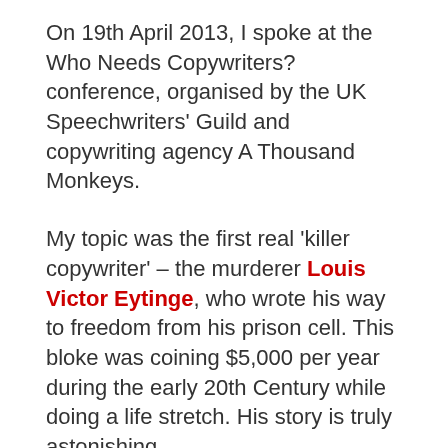On 19th April 2013, I spoke at the Who Needs Copywriters? conference, organised by the UK Speechwriters' Guild and copywriting agency A Thousand Monkeys.
My topic was the first real 'killer copywriter' – the murderer Louis Victor Eytinge, who wrote his way to freedom from his prison cell. This bloke was coining $5,000 per year during the early 20th Century while doing a life stretch. His story is truly astonishing.
If you'd like to hear how he bust out of prison with nothing more than good ideas and a typewriter, listen to the podcast here.
And if you'd like to hear some of the talks given on the same day by talented writers like Andy Maslen